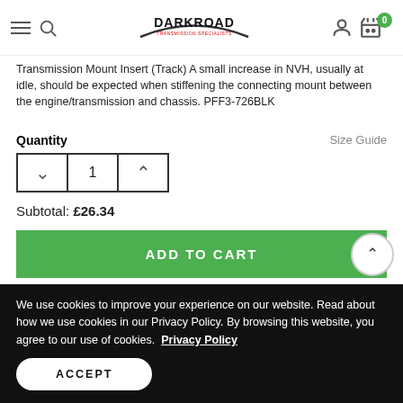Darkroad — navigation header with logo, search, user, cart icons
Transmission Mount Insert (Track) A small increase in NVH, usually at idle, should be expected when stiffening the connecting mount between the engine/transmission and chassis. PFF3-726BLK
Quantity
Size Guide
1
Subtotal: £26.34
ADD TO CART
ADD TO WISH LIST
We use cookies to improve your experience on our website. Read about how we use cookies in our Privacy Policy. By browsing this website, you agree to our use of cookies. Privacy Policy
ACCEPT